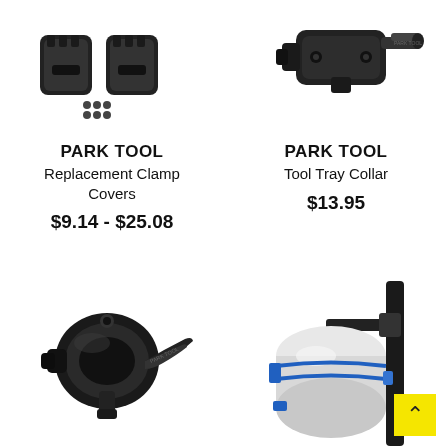[Figure (photo): Park Tool replacement clamp covers - two black rubber/plastic clamp inserts with small screws/bolts shown on white background]
PARK TOOL
Replacement Clamp Covers
$9.14 - $25.08
[Figure (photo): Park Tool tool tray collar - black metal quick-release collar/clamp mechanism on white background]
PARK TOOL
Tool Tray Collar
$13.95
[Figure (photo): Park Tool collar clamp - black metal quick-release clamp with lever, labeled Park Tool, on white background]
[Figure (photo): Park Tool cylindrical holder with blue elastic straps/bands attached to a stand, holding what appears to be a roll or tube]